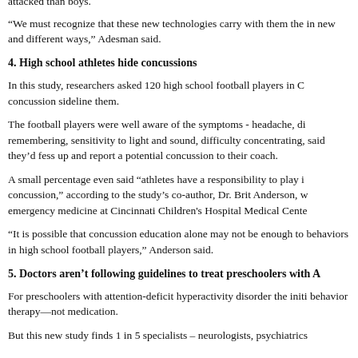attacked than boys.
“We must recognize that these new technologies carry with them the in new and different ways,” Adesman said.
4. High school athletes hide concussions
In this study, researchers asked 120 high school football players in C concussion sideline them.
The football players were well aware of the symptoms - headache, di remembering, sensitivity to light and sound, difficulty concentrating, said they’d fess up and report a potential concussion to their coach.
A small percentage even said “athletes have a responsibility to play i concussion,” according to the study’s co-author, Dr. Brit Anderson, w emergency medicine at Cincinnati Children's Hospital Medical Cente
“It is possible that concussion education alone may not be enough to behaviors in high school football players,” Anderson said.
5. Doctors aren’t following guidelines to treat preschoolers with A
For preschoolers with attention-deficit hyperactivity disorder the initi behavior therapy—not medication.
But this new study finds 1 in 5 specialists – neurologists, psychiatrics